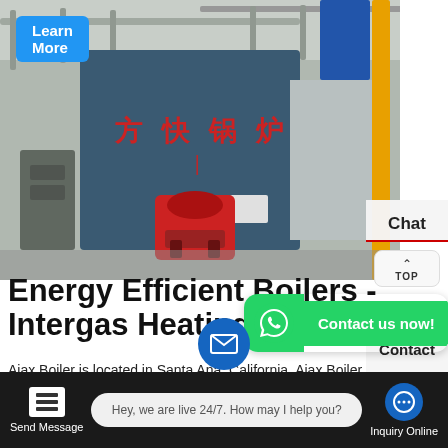[Figure (photo): Industrial boiler room with large blue boiler unit labeled with Chinese characters (方快锅炉), red burner unit at front, yellow structural poles, pipes and industrial equipment visible]
Energy Efficient Boilers - Intergas Heating
Ajax Boiler is located in Santa Ana, California. Ajax Boiler
[Figure (screenshot): WhatsApp contact button with green icon and 'Contact us now!' green button]
[Figure (screenshot): Bottom chat bar with Send Message, live chat bubble saying 'Hey, we are live 24/7. How may I help you?', and Inquiry Online button]